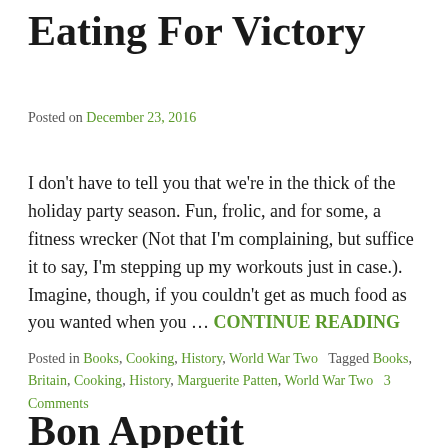Eating For Victory
Posted on December 23, 2016
I don't have to tell you that we're in the thick of the holiday party season. Fun, frolic, and for some, a fitness wrecker (Not that I'm complaining, but suffice it to say, I'm stepping up my workouts just in case.). Imagine, though, if you couldn't get as much food as you wanted when you … CONTINUE READING
Posted in Books, Cooking, History, World War Two   Tagged Books, Britain, Cooking, History, Marguerite Patten, World War Two   3 Comments
Bon Appetit